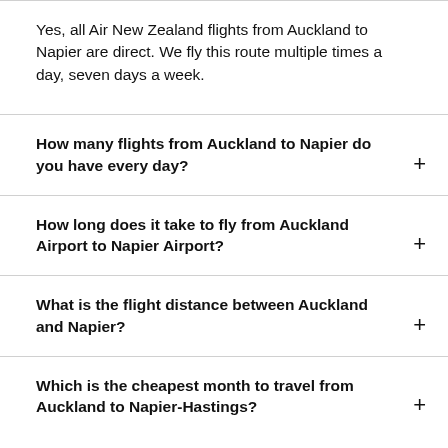Yes, all Air New Zealand flights from Auckland to Napier are direct. We fly this route multiple times a day, seven days a week.
How many flights from Auckland to Napier do you have every day?
How long does it take to fly from Auckland Airport to Napier Airport?
What is the flight distance between Auckland and Napier?
Which is the cheapest month to travel from Auckland to Napier-Hastings?